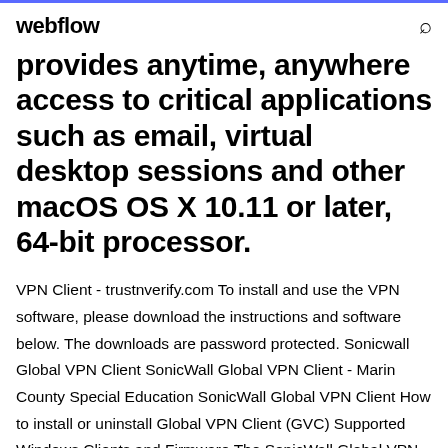webflow
provides anytime, anywhere access to critical applications such as email, virtual desktop sessions and other macOS OS X 10.11 or later, 64-bit processor.
VPN Client - trustnverify.com To install and use the VPN software, please download the instructions and software below. The downloads are password protected. Sonicwall Global VPN Client SonicWall Global VPN Client - Marin County Special Education SonicWall Global VPN Client How to install or uninstall Global VPN Client (GVC) Supported Windows Clients and Firmware The SonicWall Global VPN